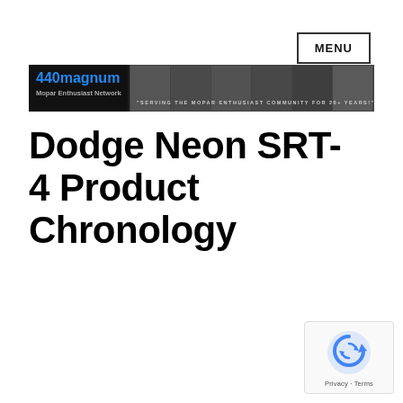MENU
[Figure (logo): 440magnum Mopar Enthusiast Network banner with text 'SERVING THE MOPAR ENTHUSIAST COMMUNITY FOR 20+ YEARS!']
Dodge Neon SRT-4 Product Chronology
[Figure (other): reCAPTCHA badge with Privacy - Terms text]